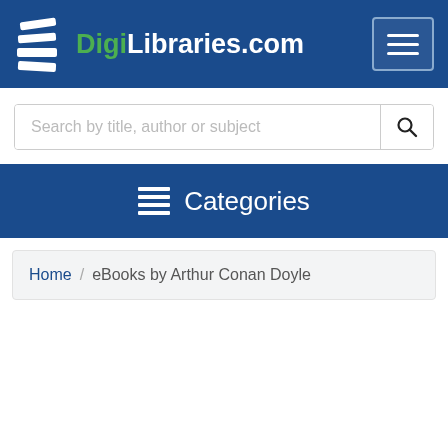DigiLibraries.com
Search by title, author or subject
Categories
Home / eBooks by Arthur Conan Doyle